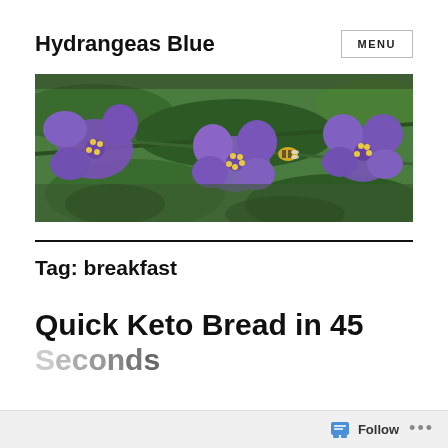Hydrangeas Blue
[Figure (photo): Close-up photo of purple spiderwort flowers with yellow stamens on green foliage, with a bee visible on one flower]
Tag: breakfast
Quick Keto Bread in 45 Seconds
Follow